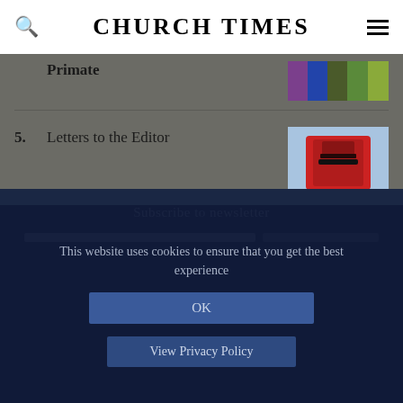CHURCH TIMES
4. Primate
5. Letters to the Editor
Subscribe to newsletter
This website uses cookies to ensure that you get the best experience
OK
View Privacy Policy